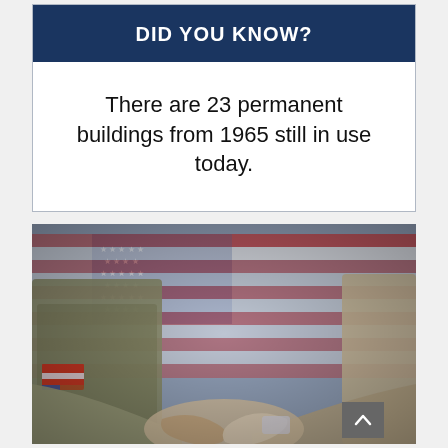DID YOU KNOW?
There are 23 permanent buildings from 1965 still in use today.
[Figure (photo): A military service member in camouflage uniform with US flag patch on sleeve shaking hands with a person in a beige jacket, with a large American flag in the background.]